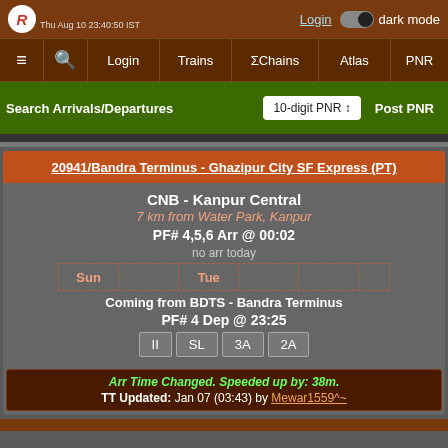Login | dark mode | Thu Aug 10 23:40:50 IST
≡ 🔍 Login | Trains | ΣChains | Atlas | PNR
Search Arrivals/Departures | 10-digit PNR | Post PNR
20941/Bandra Terminus - Ghazipur City SF Express (PT)
CNB - Kanpur Central
7 km from Water Park, Kanpur
PF# 4,5,6 Arr @ 00:02
no arr today
Sun | Tue
Coming from BDTS - Bandra Terminus
PF# 4 Dep @ 23:25
II | SL | 3A | 2A
Arr Time Changed. Speeded up by: 38m.
TT Updated: Jan 07 (03:43) by Mewar1559^~